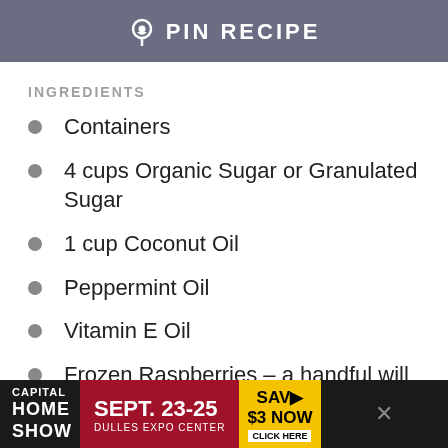PIN RECIPE
INGREDIENTS
Containers
4 cups Organic Sugar or Granulated Sugar
1 cup Coconut Oil
Peppermint Oil
Vitamin E Oil
Frozen Raspberries – a handful will do
[Figure (screenshot): Advertisement banner for Capital Home Show, Sept. 23-25, Dulles Expo Center, Save $3 Now, Click Here]